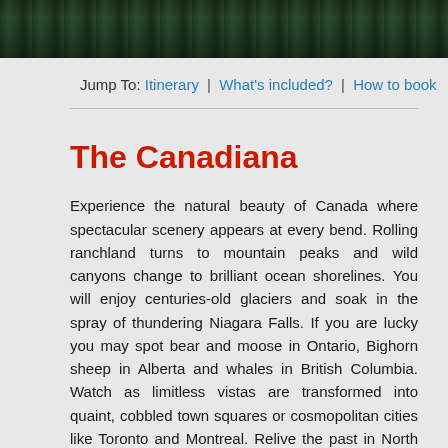[Figure (photo): Aerial or landscape photo of a forested/urban area with dark green tree canopy and buildings in the background]
Jump To: Itinerary | What's included? | How to book
The Canadiana
Experience the natural beauty of Canada where spectacular scenery appears at every bend. Rolling ranchland turns to mountain peaks and wild canyons change to brilliant ocean shorelines. You will enjoy centuries-old glaciers and soak in the spray of thundering Niagara Falls. If you are lucky you may spot bear and moose in Ontario, Bighorn sheep in Alberta and whales in British Columbia. Watch as limitless vistas are transformed into quaint, cobbled town squares or cosmopolitan cities like Toronto and Montreal. Relive the past in North America's only fortified town, frontier trading posts and colonial ports on the Pacific. A three thousand mile journey in which wonders never cease.